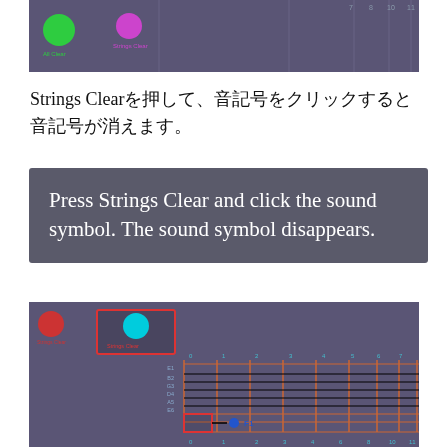[Figure (screenshot): Screenshot of guitar/music app showing green and magenta colored dots on a dark purple grid interface]
Strings Clearを押して、音記号をクリックすると音記号が消えます。
Press Strings Clear and click the sound symbol. The sound symbol disappears.
[Figure (screenshot): Screenshot of guitar/music app showing a cyan dot with red border box labeled Strings Clear, a red dot, and a fretboard grid with note markers including F1, on dark purple background]